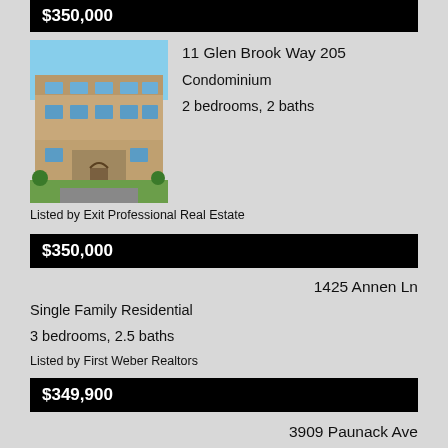$350,000
[Figure (photo): Exterior photo of a multi-story condominium building with brick facade, large windows, and landscaped grounds]
11 Glen Brook Way 205
Condominium
2 bedrooms, 2 baths
Listed by Exit Professional Real Estate
$350,000
1425 Annen Ln
Single Family Residential
3 bedrooms, 2.5 baths
Listed by First Weber Realtors
$349,900
3909 Paunack Ave
Single Family Residential